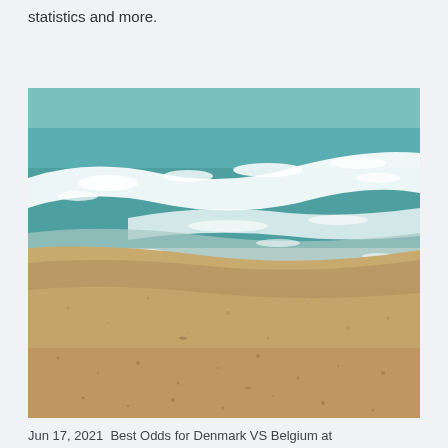statistics and more.
[Figure (photo): Aerial view of ocean waves meeting a sandy beach. Turquoise and teal water with white foam washing onto golden sand, viewed from above.]
Jun 17, 2021  Best Odds for Denmark VS Belgium at